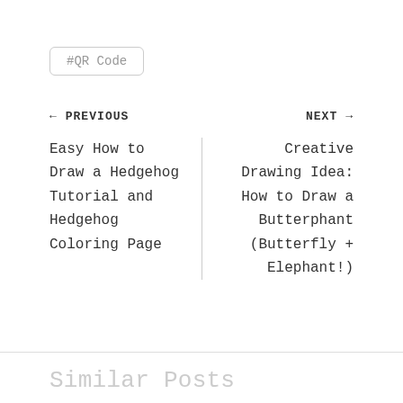#QR Code
← PREVIOUS
NEXT →
Easy How to Draw a Hedgehog Tutorial and Hedgehog Coloring Page
Creative Drawing Idea: How to Draw a Butterphant (Butterfly + Elephant!)
Similar Posts